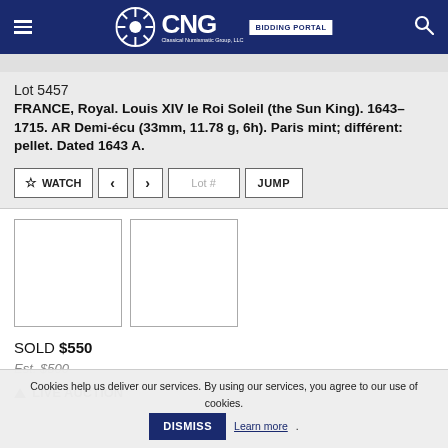CNG BIDDING PORTAL
Lot 5457
FRANCE, Royal. Louis XIV le Roi Soleil (the Sun King). 1643–1715. AR Demi-écu (33mm, 11.78 g, 6h). Paris mint; différent: pellet. Dated 1643 A.
[Figure (photo): Two blank coin image placeholders (obverse and reverse) for the AR Demi-écu lot]
SOLD $550
Est. $500
LIVE AUCTION
Cookies help us deliver our services. By using our services, you agree to our use of cookies. DISMISS Learn more.